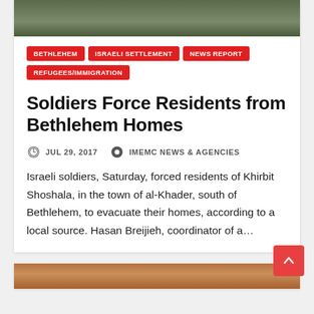[Figure (photo): Photo of soldiers at the top of the card, partially cropped]
BETHLEHEM
ISRAELI SETTLEMENT
NEWS REPORT
REFUGEES/IMMIGRATION
Soldiers Force Residents from Bethlehem Homes
JUL 29, 2017   IMEMC NEWS & AGENCIES
Israeli soldiers, Saturday, forced residents of Khirbit Shoshala, in the town of al-Khader, south of Bethlehem, to evacuate their homes, according to a local source. Hasan Breijieh, coordinator of a…
[Figure (photo): Bottom card with partial photo visible, cropped]